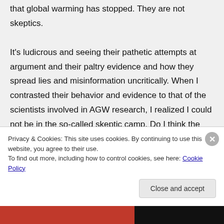that global warming has stopped. They are not skeptics.
It's ludicrous and seeing their pathetic attempts at argument and their paltry evidence and how they spread lies and misinformation uncritically. When I contrasted their behavior and evidence to that of the scientists involved in AGW research, I realized I could not be in the so-called skeptic camp. Do I think the
Privacy & Cookies: This site uses cookies. By continuing to use this website, you agree to their use.
To find out more, including how to control cookies, see here: Cookie Policy